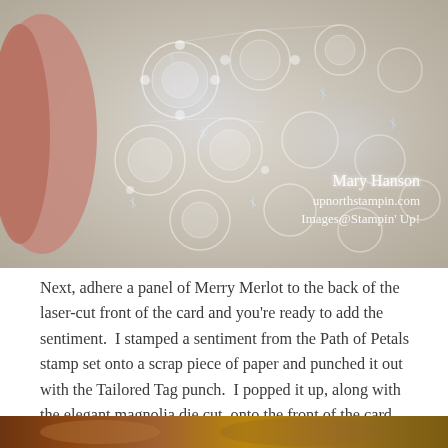[Figure (photo): Close-up photo of white glittery lace fabric with sparkly iridescent texture, showing intricate floral lace pattern. Watermark text reads: Mary Hanson, upnorthstampin.com, Images@Stampin Up!]
Next, adhere a panel of Merry Merlot to the back of the laser-cut front of the card and you're ready to add the sentiment.  I stamped a sentiment from the Path of Petals stamp set onto a scrap piece of paper and punched it out with the Tailored Tag punch.  I popped it up, along with the elegant magnolia die cut, onto the front of the card with Stampin' Dimensionals.
[Figure (photo): Partial photo visible at the bottom of the page showing a warm brown/amber colored craft image.]